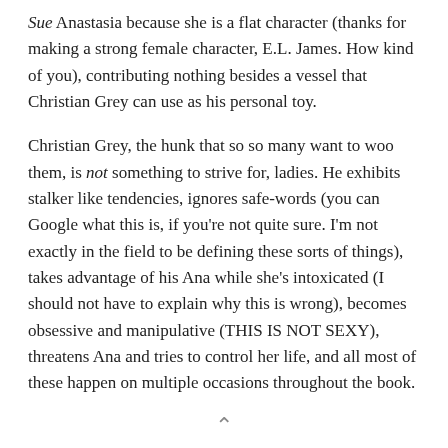Sue Anastasia because she is a flat character (thanks for making a strong female character, E.L. James. How kind of you), contributing nothing besides a vessel that Christian Grey can use as his personal toy.
Christian Grey, the hunk that so so many want to woo them, is not something to strive for, ladies. He exhibits stalker like tendencies, ignores safe-words (you can Google what this is, if you're not quite sure. I'm not exactly in the field to be defining these sorts of things), takes advantage of his Ana while she's intoxicated (I should not have to explain why this is wrong), becomes obsessive and manipulative (THIS IS NOT SEXY), threatens Ana and tries to control her life, and all most of these happen on multiple occasions throughout the book.
But Francesca, aren't you looking to far into